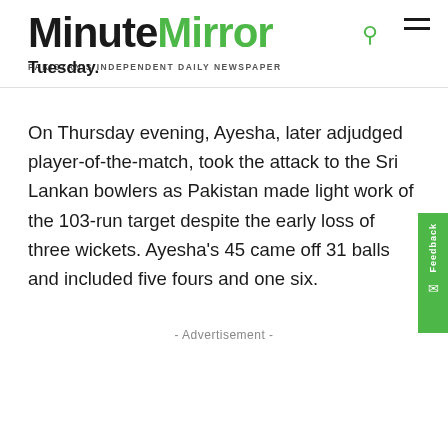MinuteMirror — PAKISTAN'S INDEPENDENT DAILY NEWSPAPER
Tuesday.
On Thursday evening, Ayesha, later adjudged player-of-the-match, took the attack to the Sri Lankan bowlers as Pakistan made light work of the 103-run target despite the early loss of three wickets. Ayesha's 45 came off 31 balls and included five fours and one six.
- Advertisement -